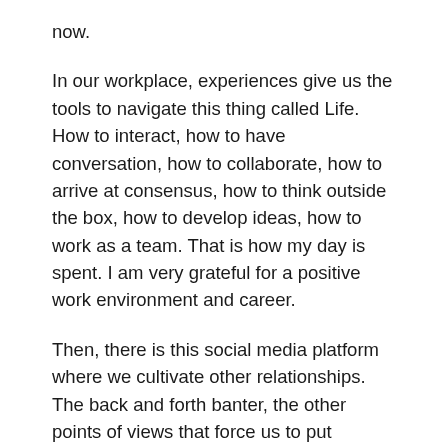now.
In our workplace, experiences give us the tools to navigate this thing called Life. How to interact, how to have conversation, how to collaborate, how to arrive at consensus, how to think outside the box, how to develop ideas, how to work as a team. That is how my day is spent. I am very grateful for a positive work environment and career.
Then, there is this social media platform where we cultivate other relationships. The back and forth banter, the other points of views that force us to put ourselves in the other person's shoes. Whether we like that frame of reference or not, we must learn how other people think in order to deal with this newfound world of chaos. It is not easy, either.
No matter what, this thing called Life is all about